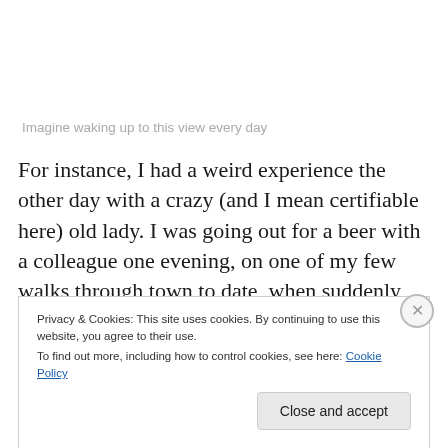Imagine waking up to this view every day
For instance, I had a weird experience the other day with a crazy (and I mean certifiable here) old lady. I was going out for a beer with a colleague one evening, on one of my few walks through town to date, when suddenly this woman just grabs my arm. She looks ancient, but may
Privacy & Cookies: This site uses cookies. By continuing to use this website, you agree to their use.
To find out more, including how to control cookies, see here: Cookie Policy
Close and accept